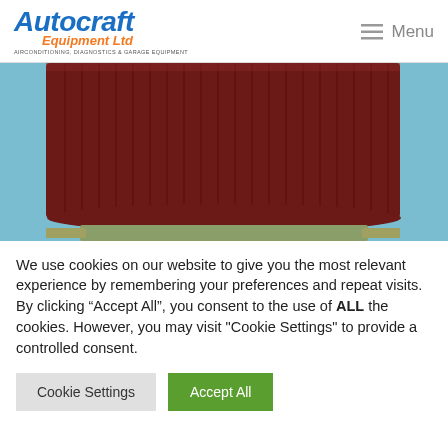[Figure (logo): Autocraft Equipment Ltd logo with blue italic text and orange 'Equipment Ltd' subtitle, tagline: AIRCONDITIONING, DIAGNOSTICS & GARAGE EQUIPMENT]
[Figure (photo): Close-up photo of a dark red/maroon ribbed cylindrical component (likely an air filter or similar automotive part) against a light blue background, with metal base visible at bottom]
We use cookies on our website to give you the most relevant experience by remembering your preferences and repeat visits. By clicking “Accept All”, you consent to the use of ALL the cookies. However, you may visit "Cookie Settings" to provide a controlled consent.
Cookie Settings
Accept All